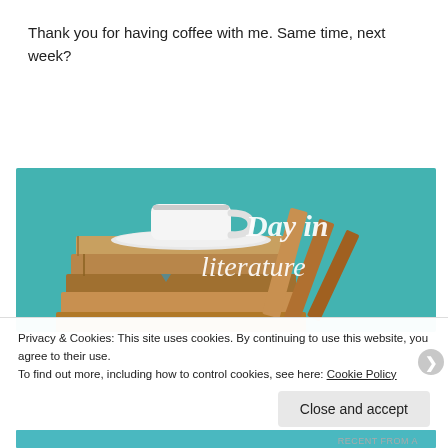Thank you for having coffee with me. Same time, next week?
[Figure (illustration): Banner image showing a stack of old books with a white coffee cup on top, set against a teal chalkboard background. White cursive/handwritten text overlay reads 'Day in literature'.]
Privacy & Cookies: This site uses cookies. By continuing to use this website, you agree to their use.
To find out more, including how to control cookies, see here: Cookie Policy
Close and accept